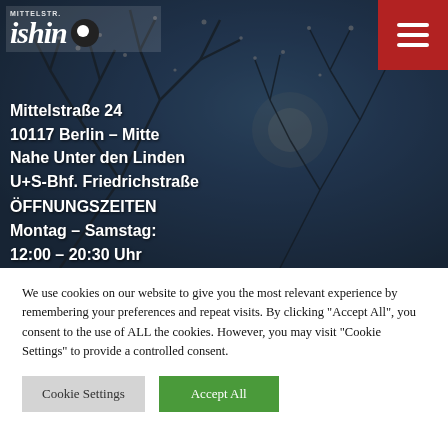[Figure (photo): Background photo of bare tree branches against a dark twilight sky]
ishin
Mittelstraße 24
10117 Berlin – Mitte
Nahe Unter den Linden
U+S-Bhf. Friedrichstraße
ÖFFNUNGSZEITEN
Montag – Samstag:
12:00 – 20:30 Uhr
Sonn- und Feiertags geschlossen
KONTAKT/BESTELLUNG
Telefon: +49 (0)30 2067 4829
We use cookies on our website to give you the most relevant experience by remembering your preferences and repeat visits. By clicking "Accept All", you consent to the use of ALL the cookies. However, you may visit "Cookie Settings" to provide a controlled consent.
Cookie Settings | Accept All